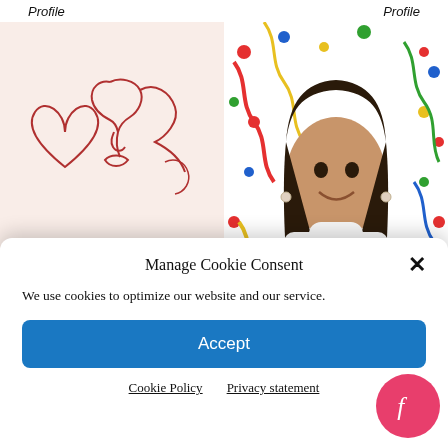Profile   Profile
[Figure (illustration): Lovestruck Daily podcast cover art: line drawing of a face with heart on pinkish background, with text 'LOVESTRUCK DAILY with Sarah Wendell and Alisha Rai']
[Figure (photo): Woman with long dark hair wearing a white lace turtleneck top, smiling, against a colorful confetti-patterned background]
Manage Cookie Consent
We use cookies to optimize our website and our service.
Accept
Cookie Policy   Privacy statement